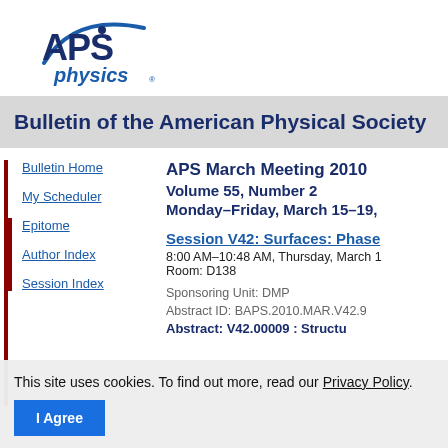[Figure (logo): APS physics logo — black APS letters with blue arc and dot, blue 'physics' text below]
Bulletin of the American Physical Society
APS March Meeting 2010
Volume 55, Number 2
Monday–Friday, March 15–19,
Session V42: Surfaces: Phase
8:00 AM–10:48 AM, Thursday, March 1
Room: D138
Sponsoring Unit: DMP
Abstract ID: BAPS.2010.MAR.V42.9
Abstract: V42.00009 : Structu
Bulletin Home
My Scheduler
Epitome
Author Index
Session Index
This site uses cookies. To find out more, read our Privacy Policy.
I Agree